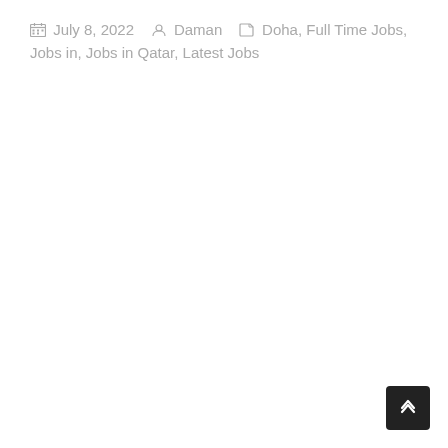July 8, 2022   Daman   Doha, Full Time Jobs, Jobs in, Jobs in Qatar, Latest Jobs